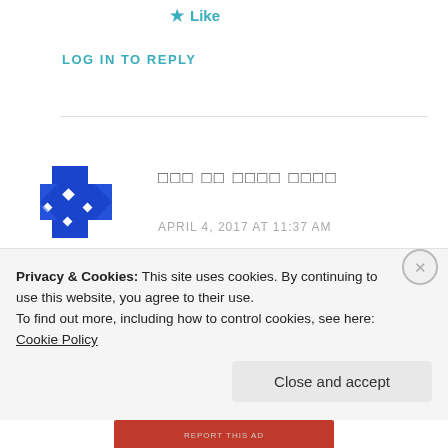Like
LOG IN TO REPLY
[Figure (illustration): Blue pixel/puzzle-piece avatar icon]
אבג דה אבגד אבגד
APRIL 4, 2017 AT 11:37 AM
(non-Latin text block 1)
(non-Latin text block 2)
Privacy & Cookies: This site uses cookies. By continuing to use this website, you agree to their use. To find out more, including how to control cookies, see here: Cookie Policy
Close and accept